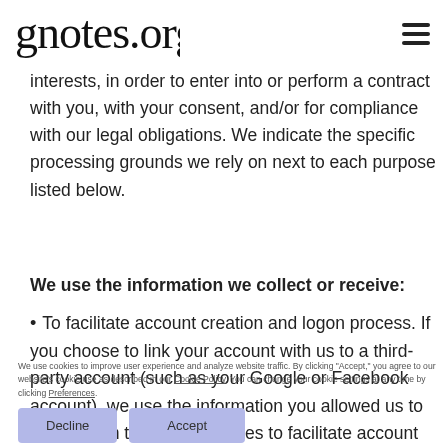gnotes.org
interests, in order to enter into or perform a contract with you, with your consent, and/or for compliance with our legal obligations. We indicate the specific processing grounds we rely on next to each purpose listed below.
We use the information we collect or receive:
To facilitate account creation and logon process. If you choose to link your account with us to a third-party account (such as your Google or Facebook account), we use the information you allowed us to collect from those third parties to facilitate account creation and logon process for the performance of the
We use cookies to improve user experience and analyze website traffic. By clicking "Accept," you agree to our website's cookie use as described in our Cookie Policy. You can change your cookie settings at any time by clicking Preferences.